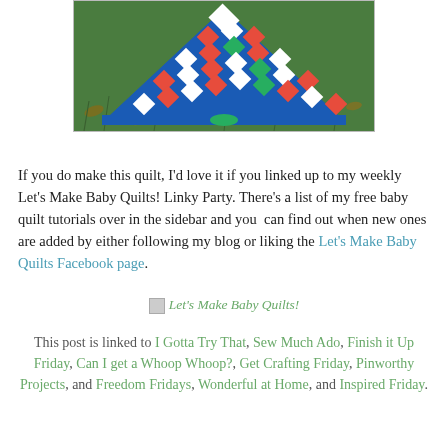[Figure (photo): Photo of a patchwork baby quilt laid on grass, showing a diagonal checkerboard pattern with blue border, red and white squares]
If you do make this quilt, I'd love it if you linked up to my weekly Let's Make Baby Quilts! Linky Party. There's a list of my free baby quilt tutorials over in the sidebar and you can find out when new ones are added by either following my blog or liking the Let's Make Baby Quilts Facebook page.
[Figure (illustration): Let's Make Baby Quilts! banner/button image]
This post is linked to I Gotta Try That, Sew Much Ado, Finish it Up Friday, Can I get a Whoop Whoop?, Get Crafting Friday, Pinworthy Projects, and Freedom Fridays, Wonderful at Home, and Inspired Friday.